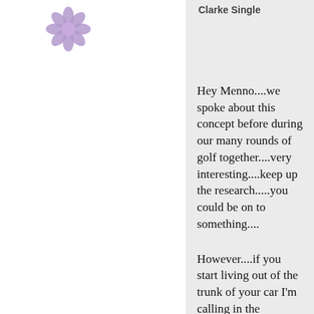[Figure (illustration): Purple flower/snowflake avatar icon in top-left area]
Clarke Single
Hey Menno....we spoke about this concept before during our many rounds of golf together....very interesting....keep up the research.....you could be on to something....
However....if you start living out of the trunk of your car I'm calling in the authorities !!!! hahaha
Take care....Clarke Single....struggling golfer